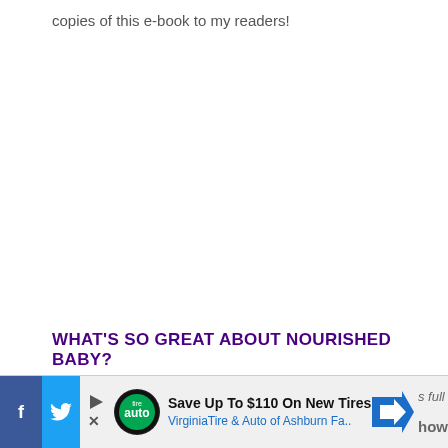copies of this e-book to my readers!
WHAT'S SO GREAT ABOUT NOURISHED BABY?
I've already written a full review of the e-book here.
[Figure (infographic): Advertisement bar at bottom of page showing social media buttons (Facebook, Twitter), a play/close button, Tire auto logo, text 'Save Up To $110 On New Tires' and 'VirginiaTire & Auto of Ashburn Fa..' with a blue arrow navigation icon. Partial text 's full' and 'how' visible at far right.]